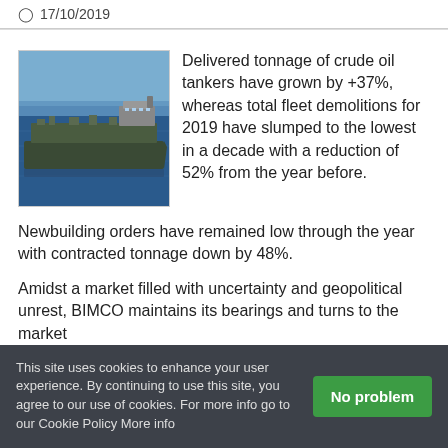17/10/2019
[Figure (photo): Aerial photograph of a large crude oil tanker ship on blue ocean water]
Delivered tonnage of crude oil tankers have grown by +37%, whereas total fleet demolitions for 2019 have slumped to the lowest in a decade with a reduction of 52% from the year before.
Newbuilding orders have remained low through the year with contracted tonnage down by 48%.
Amidst a market filled with uncertainty and geopolitical unrest, BIMCO maintains its bearings and turns to the market
This site uses cookies to enhance your user experience. By continuing to use this site, you agree to our use of cookies. For more info go to our Cookie Policy More info